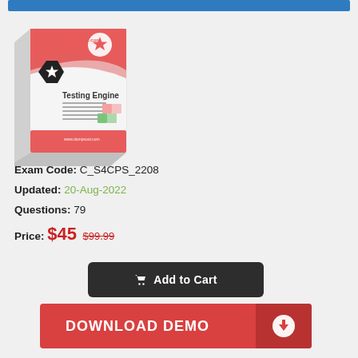[Figure (illustration): Dumpsout.com Testing Engine product box with red/white design, star badge, and Testing Engine text]
Exam Code: C_S4CPS_2208
Updated: 20-Aug-2022
Questions: 79
Price: $45 $99.99
Add to Cart
DOWNLOAD DEMO